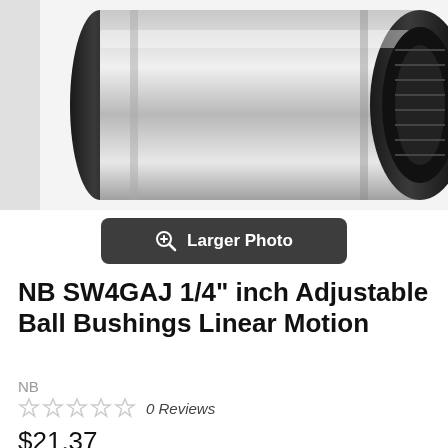[Figure (photo): Close-up photo of a cylindrical linear ball bushing bearing - metallic silver body with black plastic/rubber ends, shown against white background]
Larger Photo
NB SW4GAJ 1/4" inch Adjustable Ball Bushings Linear Motion
NB
0 Reviews
$21.37
.: Item: SW4GAJ Ball Bearing
.: Type: Linear Motion Ball Bushing